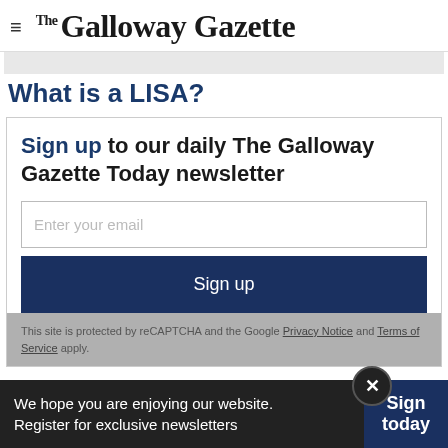The Galloway Gazette
What is a LISA?
Sign up to our daily The Galloway Gazette Today newsletter
Enter your email
Sign up
This site is protected by reCAPTCHA and the Google Privacy Notice and Terms of Service apply.
We hope you are enjoying our website. Register for exclusive newsletters
Sign today